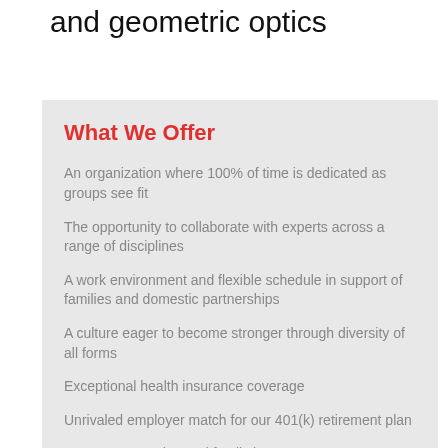and geometric optics
What We Offer
An organization where 100% of time is dedicated as groups see fit
The opportunity to collaborate with experts across a range of disciplines
A work environment and flexible schedule in support of families and domestic partnerships
A culture eager to become stronger through diversity of all forms
Exceptional health insurance coverage
Unrivaled employer match for our 401(k) retirement plan
Generous vacation and family leave